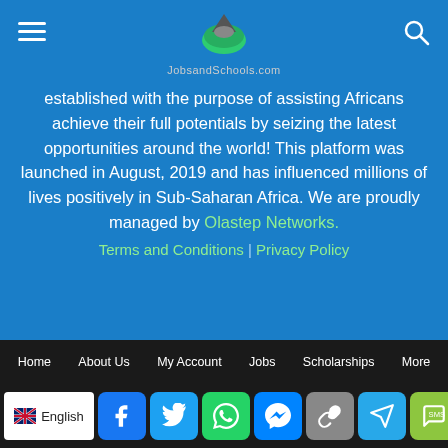JobsandSchools.com
established with the purpose of assisting Africans achieve their full potentials by seizing the latest opportunities around the world! This platform was launched in August, 2019 and has influenced millions of lives positively in Sub-Saharan Africa. We are proudly managed by Olastep Networks. Terms and Conditions | Privacy Policy
Contact us:
[Figure (infographic): Social media icons: Facebook, Instagram, Twitter in rounded square boxes]
Home | About Us | My Account | Jobs | Scholarships | More
[Figure (infographic): Language selector showing English flag and share buttons: Facebook, Twitter, WhatsApp, Messenger, Copy Link, Telegram, SMS, More]